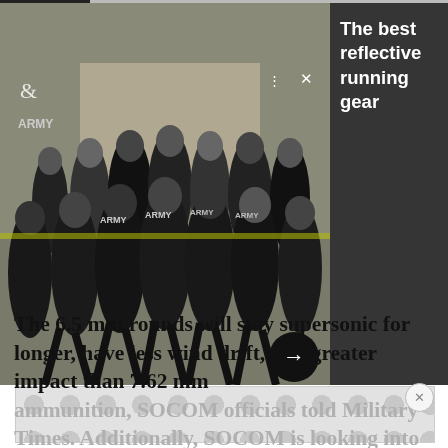[Figure (photo): Large group of soldiers in Army PT gear running together in formation]
The best reflective running gear
[Figure (other): Advertisement placeholder area with dot pattern background]
The 6.5 mm rounds will stay supersonic for longer, have less wind drift, and greater impact than 7.62 mm ammunition, SOCOM officials told Military Times. Additionally, SOCOM is looking into creating polymer